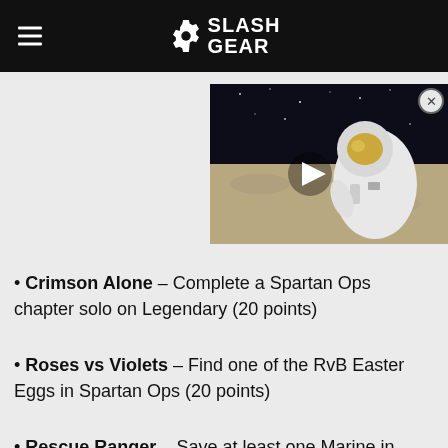SlashGear
[Figure (screenshot): Video thumbnail showing an astronaut on the lunar surface with a play button overlay and a close (X) button in the top right corner.]
Crimson Alone – Complete a Spartan Ops chapter solo on Legendary (20 points)
Roses vs Violets – Find one of the RvB Easter Eggs in Spartan Ops (20 points)
Rescue Ranger – Save at least one Marine in Chapter